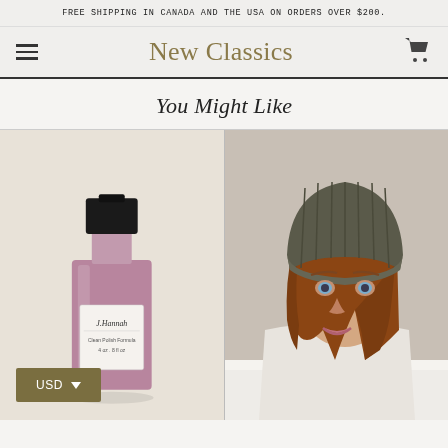FREE SHIPPING IN CANADA AND THE USA ON ORDERS OVER $200.
New Classics
You Might Like
[Figure (photo): A bottle of J.Hannah nail polish in dusty pink/mauve color with black cap, on a light beige background]
[Figure (photo): A woman wearing a dark olive/charcoal ribbed knit beanie hat and white chunky knit sweater, with auburn hair and blue eyes]